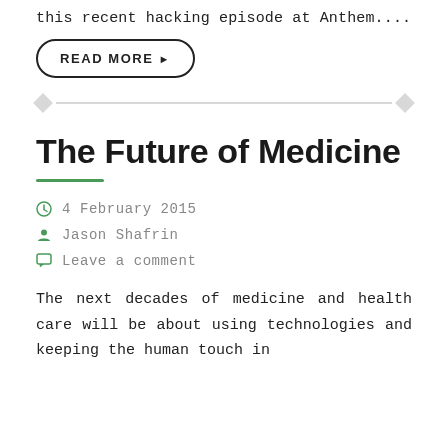this recent hacking episode at Anthem....
READ MORE ▶
The Future of Medicine
4 February 2015
Jason Shafrin
Leave a comment
The next decades of medicine and health care will be about using technologies and keeping the human touch in